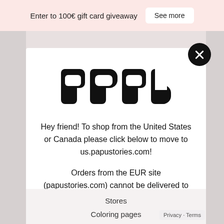Enter to 100€ gift card giveaway   See more
[Figure (logo): PAPU brand logo in bold black stylized rounded lettering]
Hey friend! To shop from the United States or Canada please click below to move to us.papustories.com!
Orders from the EUR site (papustories.com) cannot be delivered to the USA or Canada.
REDIRECT ME
Stores
Coloring pages